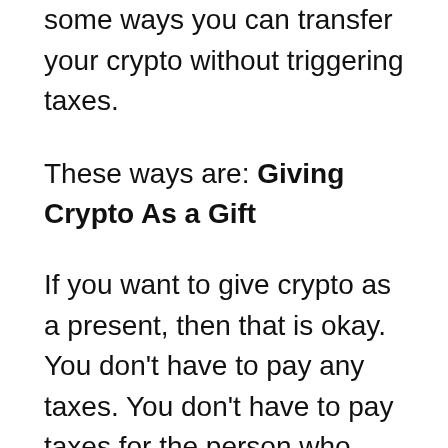some ways you can transfer your crypto without triggering taxes.
These ways are: Giving Crypto As a Gift
If you want to give crypto as a present, then that is okay. You don’t have to pay any taxes. You don’t have to pay taxes for the person who gets it, and they don’t need to pay tax either. The recipient of the gift is subject to income taxes when they transfer or sell it.
You can avoid income taxes by making sure that gifts are really given as gifts. If you say you are giving something to someone, it’s